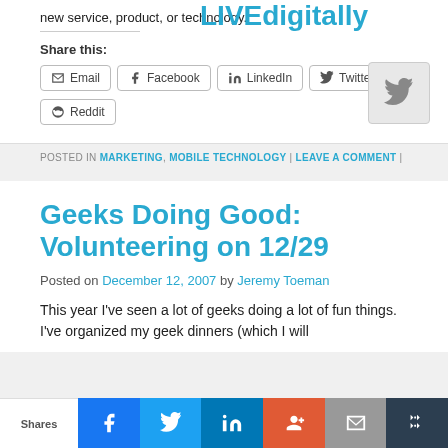new service, product, or technology.
LIVEdigitally
Share this:
Email  Facebook  LinkedIn  Twitter  Reddit
POSTED IN MARKETING, MOBILE TECHNOLOGY | LEAVE A COMMENT |
Geeks Doing Good: Volunteering on 12/29
Posted on December 12, 2007 by Jeremy Toeman
This year I've seen a lot of geeks doing a lot of fun things. I've organized my geek dinners (which I will
Shares